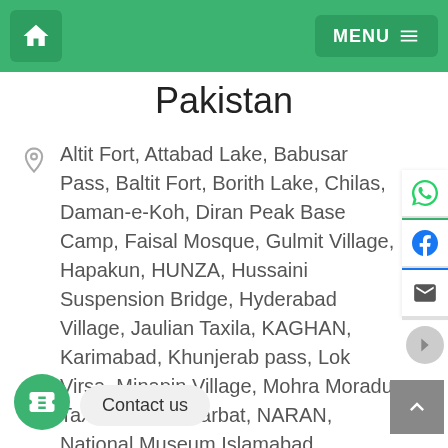Pakistan
Altit Fort, Attabad Lake, Babusar Pass, Baltit Fort, Borith Lake, Chilas, Daman-e-Koh, Diran Peak Base Camp, Faisal Mosque, Gulmit Village, Hapakun, HUNZA, Hussaini Suspension Bridge, Hyderabad Village, Jaulian Taxila, KAGHAN, Karimabad, Khunjerab pass, Lok Virsa, Minapin Village, Mohra Moradu Taxila, Nanga Parbat, NARAN, National Museum Islamabad, PAKISTAN, [Pakistan Monument], [Pakistan Series], Raja Bazaar, Rakaposhi, Shakar Parian, Shispare Peak, Sirkap